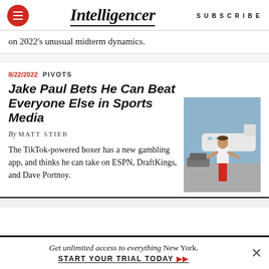Intelligencer | SUBSCRIBE
on 2022's unusual midterm dynamics.
8/22/2022  PIVOTS
Jake Paul Bets He Can Beat Everyone Else in Sports Media
By MATT STIEB
The TikTok-powered boxer has a new gambling app, and thinks he can take on ESPN, DraftKings, and Dave Portnoy.
[Figure (photo): Jake Paul standing on a tarmac in front of a private jet, wearing a white t-shirt and red pants, with arms outstretched]
Get unlimited access to everything New York. START YOUR TRIAL TODAY ▶▶